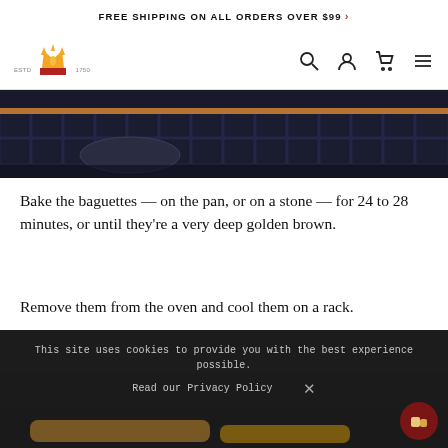FREE SHIPPING ON ALL ORDERS OVER $99 >
[Figure (screenshot): Navigation bar with logo (crown/wheat icon, ESTD 1750), search icon, user icon, cart icon, hamburger menu icon]
[Figure (photo): Close-up of an oven rack with a round baking pan, dark interior, copper-colored rack rail]
Bake the baguettes — on the pan, or on a stone — for 24 to 28 minutes, or until they're a very deep golden brown.
Remove them from the oven and cool them on a rack.
[Figure (screenshot): Bottom portion of oven photo (dark) overlaid with a cookie consent banner reading: 'This site uses cookies to provide you with the best experience possible. Read our Privacy Policy [X]' and a round dark red bread/chat icon in the bottom right corner.]